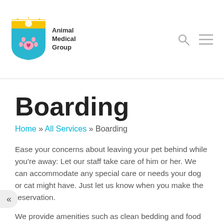Animal Medical Group
Boarding
Home » All Services » Boarding
Ease your concerns about leaving your pet behind while you're away: Let our staff take care of him or her. We can accommodate any special care or needs your dog or cat might have. Just let us know when you make the reservation.
We provide amenities such as clean bedding and food and water bowls, but feel free to bring your own if you'd prefer. You can also